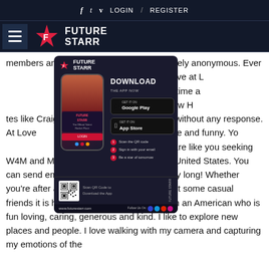f  t  v  LOGIN  /  REGISTER
[Figure (logo): Future Starr logo with hamburger menu and star icon]
[Figure (other): Future Starr app download advertisement overlay showing phone mockup, Google Play and App Store buttons, QR code, and www.futurestarr.com URL]
members and me completely anonymous. Even memebrs find their love at L ng sites, you spend your time a focused on finding the New H tes like Craigslist, Locant without any response. At Love vice should be free and funny. Yo nnecticut members who are like you seeking W4M and M4W for casual relationships in United States. You can send emails and upload pictures all day long! Whether you're after a meaningful relationship or just some casual friends it is high time to join Loveawake. I'm an American who is fun loving, caring, generous and kind. I like to explore new places and people. I love walking with my camera and capturing my emotions of the